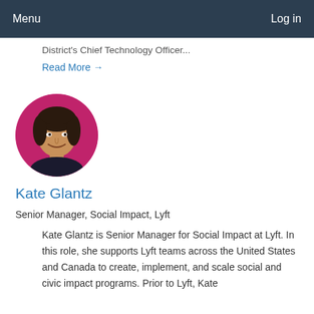Menu    Log in
District's Chief Technology Officer...
Read More →
[Figure (photo): Circular profile photo of Kate Glantz, a woman with dark hair, smiling, against a pink/magenta background]
Kate Glantz
Senior Manager, Social Impact, Lyft
Kate Glantz is Senior Manager for Social Impact at Lyft. In this role, she supports Lyft teams across the United States and Canada to create, implement, and scale social and civic impact programs. Prior to Lyft, Kate